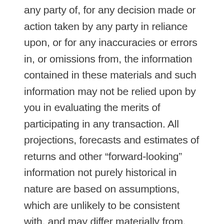any party of, for any decision made or action taken by any party in reliance upon, or for any inaccuracies or errors in, or omissions from, the information contained in these materials and such information may not be relied upon by you in evaluating the merits of participating in any transaction. All projections, forecasts and estimates of returns and other “forward-looking” information not purely historical in nature are based on assumptions, which are unlikely to be consistent with, and may differ materially from, actual events or conditions. Such forward-looking information only illustrates hypothetical results under certain assumptions. Actual results will vary, and the variations may be material. Nothing herein should be construed as an investment recommendation or as legal, tax, investment or accounting advice. Cargill Risk Management is a provisionally registered Swap Dealer and operates under “Order of Limited Purpose